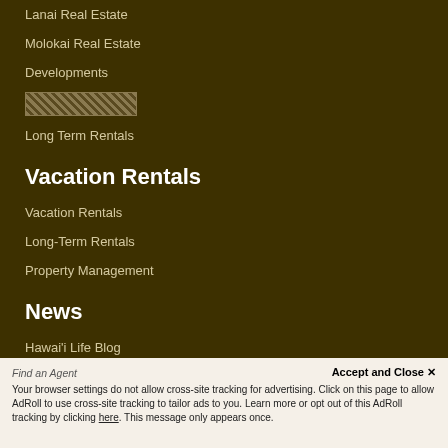Lanai Real Estate
Molokai Real Estate
Developments
[Figure (other): Hatched/patterned decorative box]
Long Term Rentals
Vacation Rentals
Vacation Rentals
Long-Term Rentals
Property Management
News
Hawai'i Life Blog
Vacation Blog
Company
Find an Agent
Accept and Close ✕
Your browser settings do not allow cross-site tracking for advertising. Click on this page to allow AdRoll to use cross-site tracking to tailor ads to you. Learn more or opt out of this AdRoll tracking by clicking here. This message only appears once.